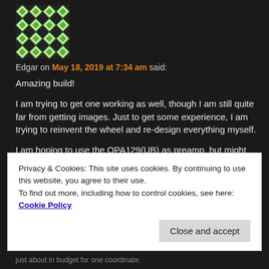[Figure (illustration): Green and white diamond pattern avatar/gravatar image]
Edgar on May 18, 2019 at 7:34 am said:
Amazing build!

I am trying to get one working as well, though I am still quite far from getting images. Just to get some experience, I am trying to reinvent the wheel and re-design everything myself.
I am hoping to use the OPA129(UB) as preamp, but might switch to the LTC6268 later if I attempt phase sensitive detection.
Originally I was planning to do the signal mixing in
Privacy & Cookies: This site uses cookies. By continuing to use this website, you agree to their use.
To find out more, including how to control cookies, see here: Cookie Policy
Close and accept
just about in budget for one coordinate.